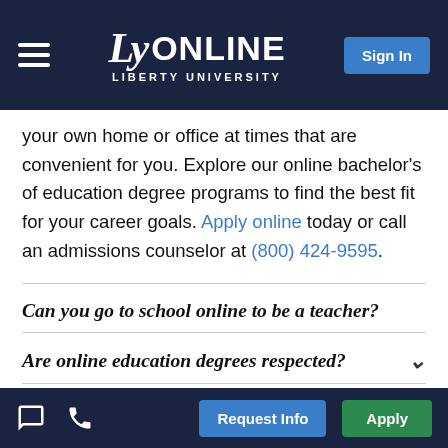LU ONLINE — LIBERTY UNIVERSITY
your own home or office at times that are convenient for you. Explore our online bachelor's of education degree programs to find the best fit for your career goals. Apply online today or call an admissions counselor at (800) 424-9595.
Can you go to school online to be a teacher?
Are online education degrees respected?
What is the best online college for a
Request Info | Apply